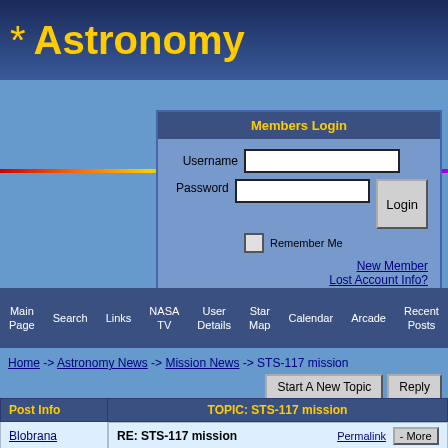* Astronomy
[Figure (screenshot): Members Login box with Username and Password fields, Login button, Remember Me checkbox, New Member and Lost Account Info links]
Main Page | Search | Links | NASA TV | User Details | Star Map | Calendar | Arcade | Recent Posts
Home -> Astronomy News -> Mission News -> STS-117 mission
Start A New Topic | Reply
| Post Info | TOPIC: STS-117 mission |
| --- | --- |
| Blobrana | RE: STS-117 mission | Permalink | - More |